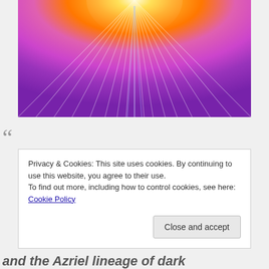[Figure (illustration): Abstract radial burst of light with yellow-orange center fading to pink, magenta, and purple rays on a light background. Looks like an artistic starburst or aura image.]
““
Privacy & Cookies: This site uses cookies. By continuing to use this website, you agree to their use.
To find out more, including how to control cookies, see here: Cookie Policy
Close and accept
and the Azriel lineage of dark